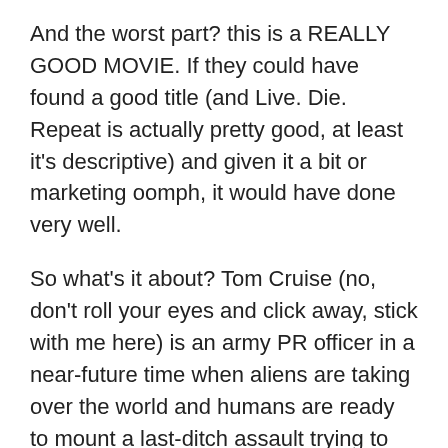And the worst part? this is a REALLY GOOD MOVIE. If they could have found a good title (and Live. Die. Repeat is actually pretty good, at least it's descriptive) and given it a bit or marketing oomph, it would have done very well.
So what's it about? Tom Cruise (no, don't roll your eyes and click away, stick with me here) is an army PR officer in a near-future time when aliens are taking over the world and humans are ready to mount a last-ditch assault trying to beat them back. He is sent to the front lines after pissing off a general, and (when he is killed) (and this is not a spoiler, look at the title) he comes back to the morning of the same day. Over and over.
Yup, it's Groundhog Day with aliens and butt-kicking action. And it worked.